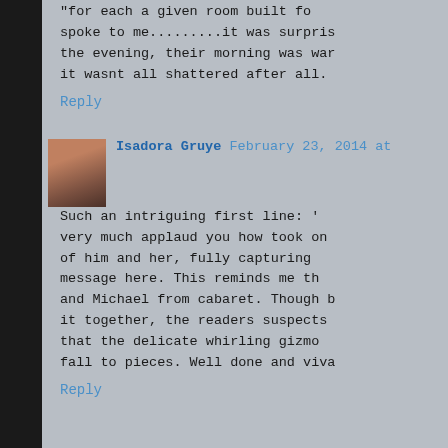"for each a given room built fo spoke to me.........it was surpris the evening, their morning was war it wasnt all shattered after all.
Reply
Isadora Gruye February 23, 2014 at
Such an intriguing first line: ' very much applaud you how took on of him and her, fully capturing message here. This reminds me th and Michael from cabaret. Though b it together, the readers suspects that the delicate whirling gizmo fall to pieces. Well done and viva
Reply